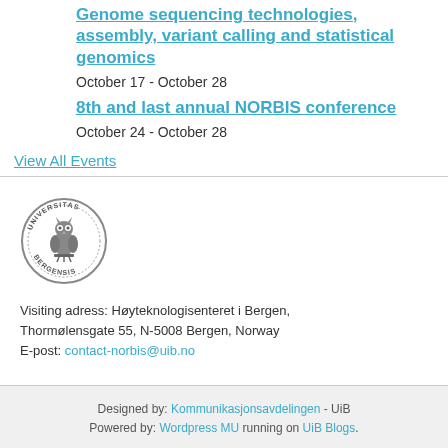Genome sequencing technologies, assembly, variant calling and statistical genomics
October 17 - October 28
8th and last annual NORBIS conference
October 24 - October 28
View All Events
[Figure (logo): University of Bergen circular seal/logo with owl and text UNIVERSITAS BERGENSIS]
Visiting adress: Høyteknologisenteret i Bergen, Thormølensgate 55, N-5008 Bergen, Norway
E-post: contact-norbis@uib.no
Designed by: Kommunikasjonsavdelingen - UiB
Powered by: Wordpress MU running on UiB Blogs.